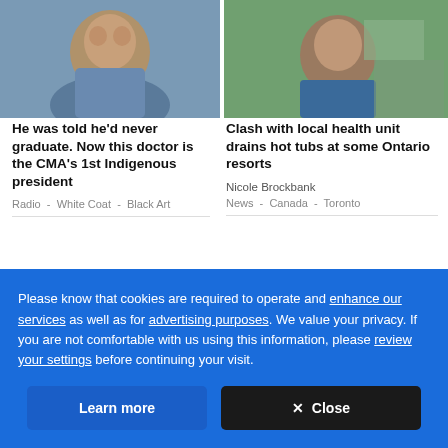[Figure (photo): Headshot of a man in blue medical scrubs, close-up selfie indoors]
[Figure (photo): Man in blue t-shirt sitting outdoors near a wooden structure with greenery in the background]
He was told he'd never graduate. Now this doctor is the CMA's 1st Indigenous president
Clash with local health unit drains hot tubs at some Ontario resorts
Radio  -  White Coat  -  Black Art
Nicole Brockbank
News  -  Canada  -  Toronto
[Figure (photo): Partial image of a building exterior, cut off at bottom of page]
[Figure (photo): Partial image cut off at bottom of page]
Please know that cookies are required to operate and enhance our services as well as for advertising purposes. We value your privacy. If you are not comfortable with us using this information, please review your settings before continuing your visit.
Learn more
✕  Close